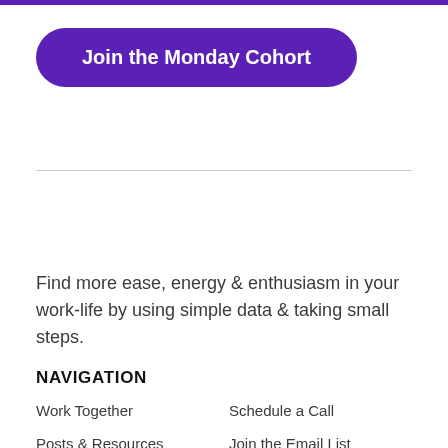[Figure (other): Purple button with white bold text 'Join the Monday Cohort' with rounded pill shape]
Find more ease, energy & enthusiasm in your work-life by using simple data & taking small steps.
NAVIGATION
Work Together
Schedule a Call
Posts & Resources
Join the Email List
About
Business transparency